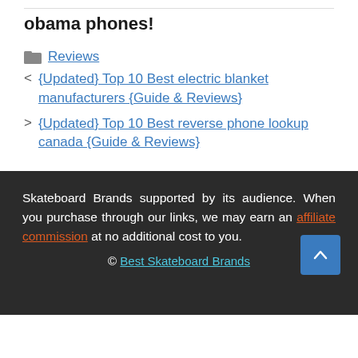obama phones!
Reviews
< {Updated} Top 10 Best electric blanket manufacturers {Guide & Reviews}
> {Updated} Top 10 Best reverse phone lookup canada {Guide & Reviews}
Skateboard Brands supported by its audience. When you purchase through our links, we may earn an affiliate commission at no additional cost to you.
© Best Skateboard Brands